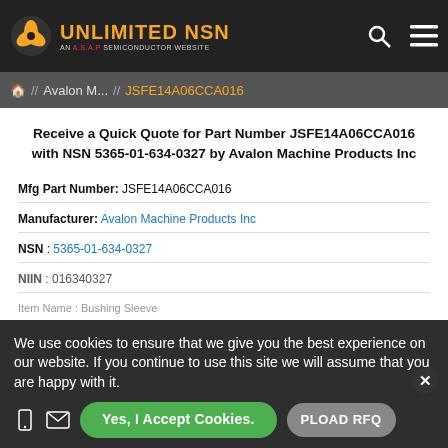UNLIMITED NSN — AN A.S.A.P SEMICONDUCTOR WEBSITE
🏠 // Avalon M... // JSFE14A06CCA016
Receive a Quick Quote for Part Number JSFE14A06CCA016 with NSN 5365-01-634-0327 by Avalon Machine Products Inc
Mfg Part Number: JSFE14A06CCA016
Manufacturer: Avalon Machine Products Inc
NSN : 5365-01-634-0327
NIIN : 016340327
Item Name : Bushing Sleeve
We use cookies to ensure that we give you the best experience on our website. If you continue to use this site we will assume that you are happy with it.